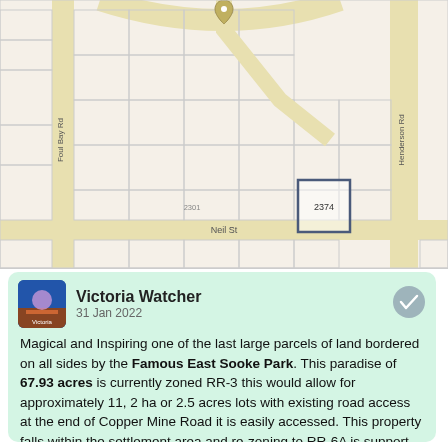[Figure (map): Street map showing a highlighted parcel (labeled 2374) near Henderson Rd, Foul Bay Rd, Neil St. The parcel is outlined in dark blue/grey.]
Victoria Watcher
31 Jan 2022
Magical and Inspiring one of the last large parcels of land bordered on all sides by the Famous East Sooke Park. This paradise of 67.93 acres is currently zoned RR-3 this would allow for approximately 11, 2 ha or 2.5 acres lots with existing road access at the end of Copper Mine Road it is easily accessed. This property falls within the settlement area and re-zoning to RR-6A is support by the official community plan. This gives a subdivision a